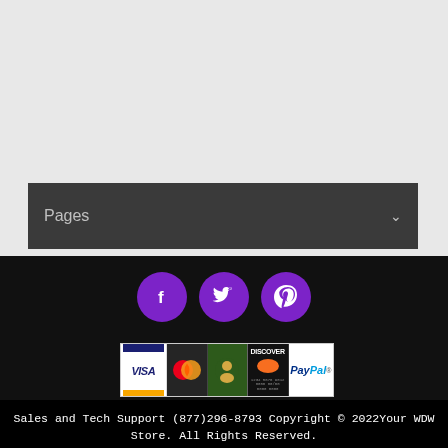Pages
[Figure (infographic): Three purple circular social media icons: Facebook (f), Twitter (bird), Pinterest (P)]
[Figure (infographic): Payment method logos: Visa, MasterCard, green card, Discover, PayPal]
Sales and Tech Support (877)296-8793 Copyright © 2022Your WDW Store. All Rights Reserved.
Your WDW Store is independently owned and operated. Your WDW Store, its owners (CDI Marketing), and this website are private enterprises and are not in any way affiliated with the Walt Disney Company, the Walt Disney World® Resort, or any of its affiliates, subsidiaries, or designees.